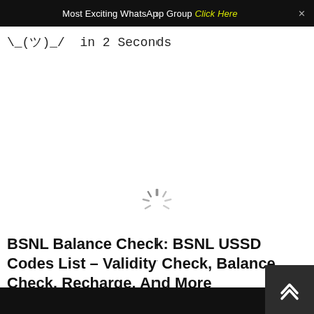Most Exciting WhatsApp Group Click Here
\_(ツ)_/ in 2 Seconds
[Figure (other): Loading spinner animation graphic]
BSNL Balance Check: BSNL USSD Codes List – Validity Check, Balance Check, Recharge, And More